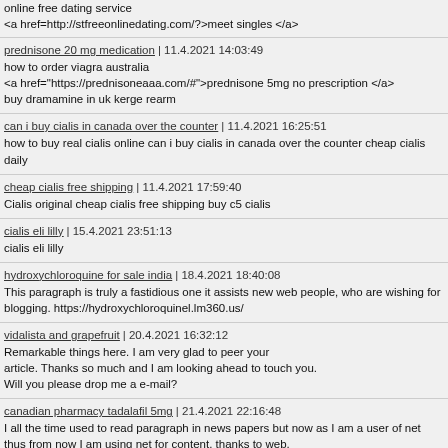online free dating service
<a href=http://stfreeonlinedating.com/?>meet singles </a>
prednisone 20 mg medication | 11.4.2021 14:03:49
how to order viagra australia
<a href="https://prednisoneaaa.com/#">prednisone 5mg no prescription </a>
buy dramamine in uk kerge rearm
can i buy cialis in canada over the counter | 11.4.2021 16:25:51
how to buy real cialis online can i buy cialis in canada over the counter cheap cialis daily
cheap cialis free shipping | 11.4.2021 17:59:40
Cialis original cheap cialis free shipping buy c5 cialis
cialis eli lilly | 15.4.2021 23:51:13
cialis eli lilly
hydroxychloroquine for sale india | 18.4.2021 18:40:08
This paragraph is truly a fastidious one it assists new web people, who are wishing for blogging. https://hydroxychloroquinel.lm360.us/
vidalista and grapefruit | 20.4.2021 16:32:12
Remarkable things here. I am very glad to peer your article. Thanks so much and I am looking ahead to touch you.
Will you please drop me a e-mail?
canadian pharmacy tadalafil 5mg | 21.4.2021 22:16:48
I all the time used to read paragraph in news papers but now as I am a user of net thus from now I am using net for content, thanks to web.
https://cialis.confrancisvalgomas.com/tadalafil